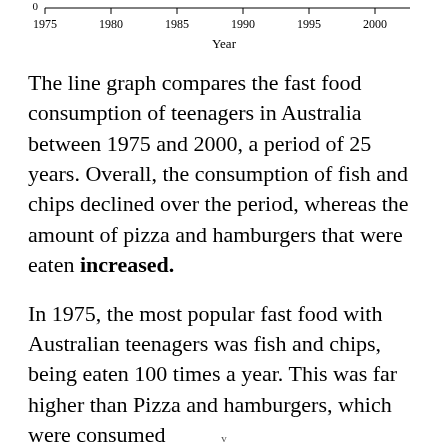[Figure (line-chart): Partial bottom of a line chart showing x-axis with years 1975–2000 and a 0 tick on y-axis. X-axis label: Year.]
The line graph compares the fast food consumption of teenagers in Australia between 1975 and 2000, a period of 25 years. Overall, the consumption of fish and chips declined over the period, whereas the amount of pizza and hamburgers that were eaten increased.
In 1975, the most popular fast food with Australian teenagers was fish and chips, being eaten 100 times a year. This was far higher than Pizza and hamburgers, which were consumed
v